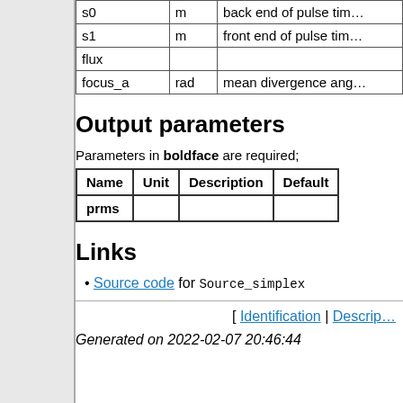| Name | Unit | Description |
| --- | --- | --- |
| s0 | m | back end of pulse tim… |
| s1 | m | front end of pulse tim… |
| flux |  |  |
| focus_a | rad | mean divergence ang… |
Output parameters
Parameters in boldface are required;
| Name | Unit | Description | Default |
| --- | --- | --- | --- |
| prms |  |  |  |
Links
Source code for Source_simplex
[ Identification | Descrip…
Generated on 2022-02-07 20:46:44